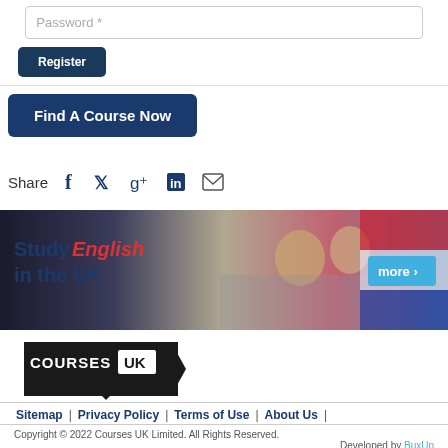Password *
Register
Find A Course Now
Share
[Figure (screenshot): Banner advertisement: Study English in the UK, with photo of students studying and a UK flag, and a 'more >' button]
[Figure (logo): Courses UK logo - black pentagon/arrow shape with COURSES UK text]
Sitemap | Privacy Policy | Terms of Use | About Us |
Copyright © 2022 Courses UK Limited. All Rights Reserved. Developed by BuxUp